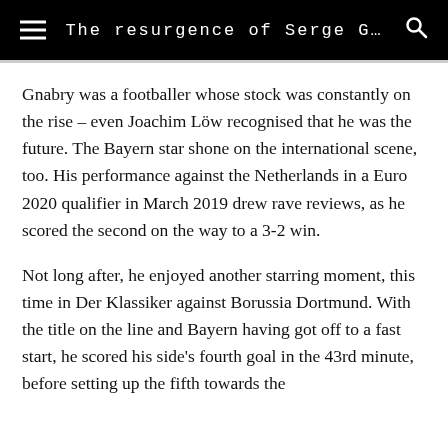The resurgence of Serge G…
Gnabry was a footballer whose stock was constantly on the rise – even Joachim Löw recognised that he was the future. The Bayern star shone on the international scene, too. His performance against the Netherlands in a Euro 2020 qualifier in March 2019 drew rave reviews, as he scored the second on the way to a 3-2 win.
Not long after, he enjoyed another starring moment, this time in Der Klassiker against Borussia Dortmund. With the title on the line and Bayern having got off to a fast start, he scored his side's fourth goal in the 43rd minute, before setting up the fifth towards the